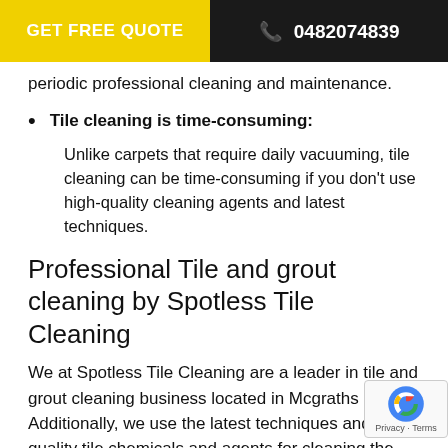GET FREE QUOTE   0482074839
periodic professional cleaning and maintenance.
Tile cleaning is time-consuming: Unlike carpets that require daily vacuuming, tile cleaning can be time-consuming if you don't use high-quality cleaning agents and latest techniques.
Professional Tile and grout cleaning by Spotless Tile Cleaning
We at Spotless Tile Cleaning are a leader in tile and grout cleaning business located in Mcgraths Hill. Additionally, we use the latest techniques and high-quality tile chemicals and agents for cleaning the tiles. Further, we specia providing state-of-the-art services exceeding custom expectations.